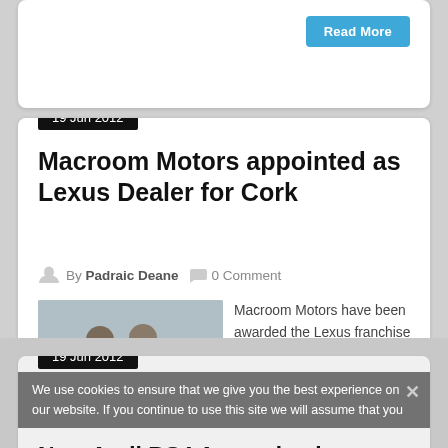Read More
19 Jun 2012
Macroom Motors appointed as Lexus Dealer for Cork
By Padraic Deane  0 Comment
[Figure (photo): Group photo of businessmen in suits]
Macroom Motors have been awarded the Lexus franchise for the Cork area, and later this year will announce plans to build a new state of
Read More
19 Jun 2012
We use cookies to ensure that we give you the best experience on our website. If you continue to use this site we will assume that you are happy with it.
New Audi RS4 Avant due in September